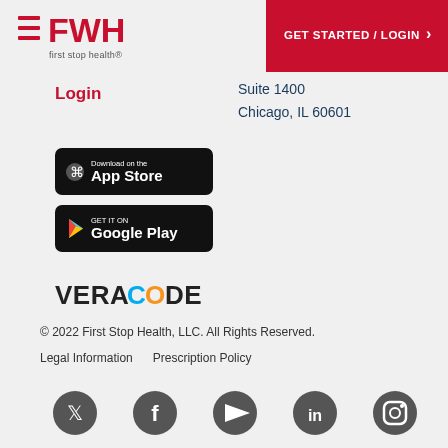[Figure (logo): First Stop Health (FSH) logo with hamburger menu icon and red text on white background]
[Figure (other): GET STARTED / LOGIN button with red background and white text]
Login
Suite 1400
Chicago, IL 60601
[Figure (other): Download on the App Store button (black rounded rectangle)]
[Figure (other): GET IT ON Google Play button (black rounded rectangle)]
[Figure (logo): Veracode logo in black and blue text]
© 2022 First Stop Health, LLC. All Rights Reserved.
Legal Information    Prescription Policy
[Figure (other): Social media icons: Twitter, Facebook, YouTube, LinkedIn, Instagram — all in dark gray]